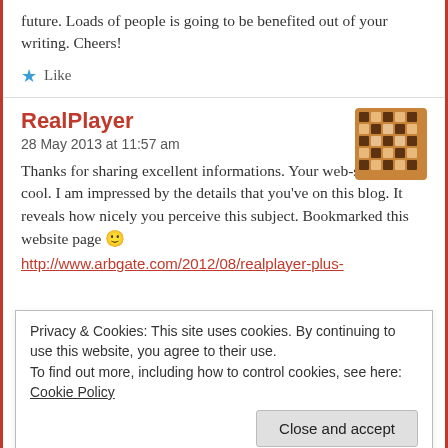future. Loads of people is going to be benefited out of your writing. Cheers!
★ Like
RealPlayer
28 May 2013 at 11:57 am
Thanks for sharing excellent informations. Your web-site is very cool. I am impressed by the details that you've on this blog. It reveals how nicely you perceive this subject. Bookmarked this website page 🙂
http://www.arbgate.com/2012/08/realplayer-plus-
Privacy & Cookies: This site uses cookies. By continuing to use this website, you agree to their use.
To find out more, including how to control cookies, see here: Cookie Policy
Close and accept
28 May 2013 at 10:55 am